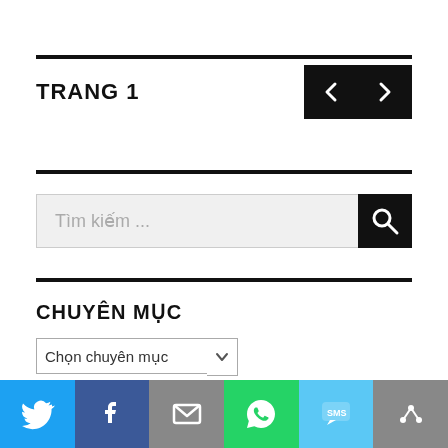TRANG 1
Tìm kiếm ...
CHUYÊN MỤC
Chọn chuyên mục
Twitter | Facebook | Email | WhatsApp | SMS | More